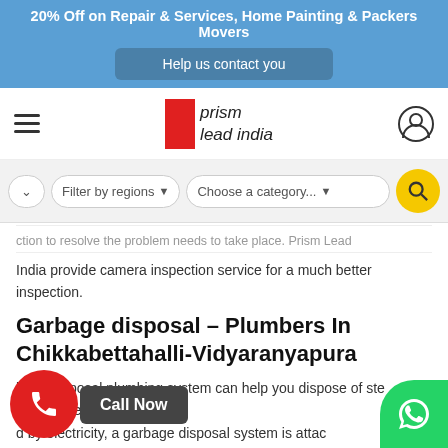20% Off on Repair & Services, Home Painting & Packers Movers
Help us contact you
[Figure (logo): Prism Lead India logo with red box and italic text]
Filter by regions   Choose a category...
India provide camera inspection service for a much better inspection.
Garbage disposal - Plumbers In Chikkabettahalli-Vidyaranyapura
bage disposal plumbing system can help you dispose of ste and environment-friendly mann d by electricity, a garbage disposal system is attac